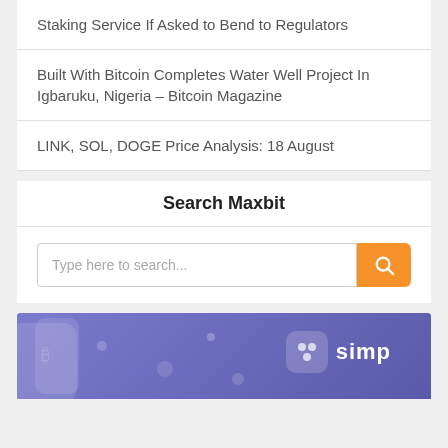Staking Service If Asked to Bend to Regulators
Built With Bitcoin Completes Water Well Project In Igbaruku, Nigeria – Bitcoin Magazine
LINK, SOL, DOGE Price Analysis: 18 August
Search Maxbit
Type here to search...
[Figure (illustration): Purple/blue banner with a logo icon and partial text 'simp' visible, decorative circles and a device silhouette on a gradient purple background]